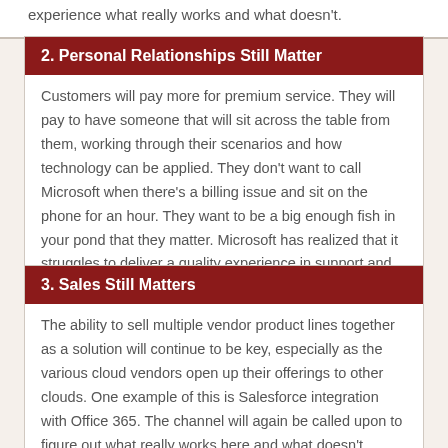experience what really works and what doesn't.
2. Personal Relationships Still Matter
Customers will pay more for premium service. They will pay to have someone that will sit across the table from them, working through their scenarios and how technology can be applied. They don't want to call Microsoft when there's a billing issue and sit on the phone for an hour. They want to be a big enough fish in your pond that they matter. Microsoft has realized that it struggles to deliver a quality experience in support and billing for its clients, thus its current push into the Cloud Solution Provider (CSP) model.
3. Sales Still Matters
The ability to sell multiple vendor product lines together as a solution will continue to be key, especially as the various cloud vendors open up their offerings to other clouds. One example of this is Salesforce integration with Office 365. The channel will again be called upon to figure out what really works here and what doesn't. Integrators will need to sell clients on how new offerings will positively impact their businesses.